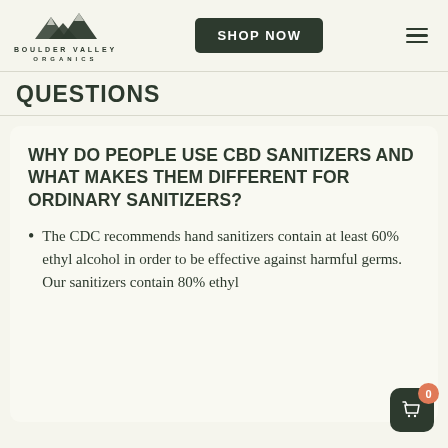[Figure (logo): Boulder Valley Organics logo with mountain illustration and text]
QUESTIONS
WHY DO PEOPLE USE CBD SANITIZERS AND WHAT MAKES THEM DIFFERENT FOR ORDINARY SANITIZERS?
The CDC recommends hand sanitizers contain at least 60% ethyl alcohol in order to be effective against harmful germs. Our sanitizers contain 80% ethyl